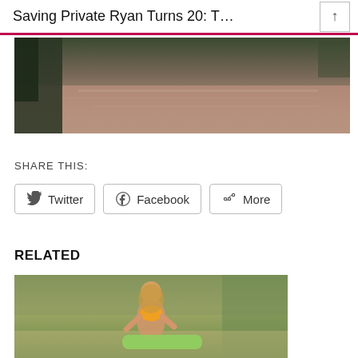Saving Private Ryan Turns 20: T…
[Figure (photo): Film still showing a water/beach scene with dark foliage on the left and reddish-tinted water in the background]
SHARE THIS:
[Figure (screenshot): Share buttons row: Twitter, Facebook, More]
RELATED
[Figure (photo): A woman with blonde hair wearing an orange bikini top holding a surfboard, standing in front of tropical greenery]